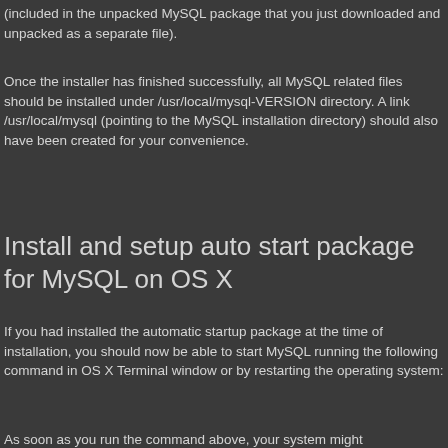(included in the unpacked MySQL package that you just downloaded and unpacked as a separate file).
Once the installer has finished successfully, all MySQL related files should be installed under /usr/local/mysql-VERSION directory. A link /usr/local/mysql (pointing to the MySQL installation directory) should also have been created for your convenience.
Install and setup auto start package for MySQL on OS X
If you had installed the automatic startup package at the time of installation, you should now be able to start MySQL running the following command in OS X Terminal window or by restarting the operating system:
As soon as you run the command above, your system might